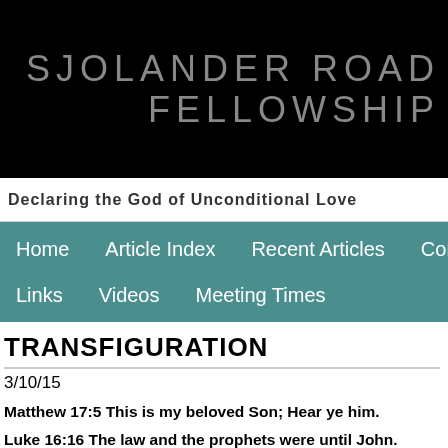SJOLANDER ROAD FELLOWSHIP
Declaring the God of Unconditional Love
Home   Article Index   Recent Articles   Cont...   Links   Videos   Meeting Times
TRANSFIGURATION
3/10/15
Matthew 17:5 This is my beloved Son; Hear ye him.
Luke 16:16 The law and the prophets were until John. Since that t... is preached.